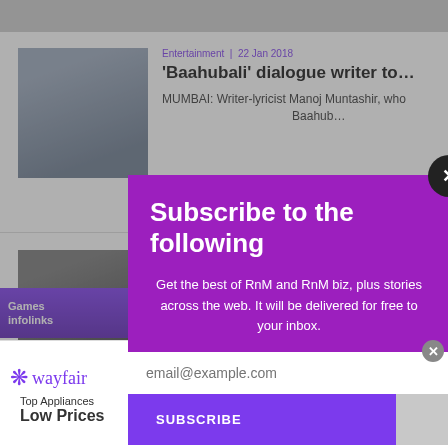Entertainment  |  22 Jan 2018
'Baahubali' dialogue writer to…
MUMBAI: Writer-lyricist Manoj Muntashir, who … Baahub…
for…
d the rights … oom Jhoo…
Subscribe to the following
Get the best of RnM and RnM biz, plus stories across the web. It will be delivered for free to your inbox.
email@example.com
SUBSCRIBE
Games
infolinks
[Figure (screenshot): Wayfair advertisement banner: Top Appliances Low Prices, Save on best selling brands that live up to the hype, Shop now button, appliance image]